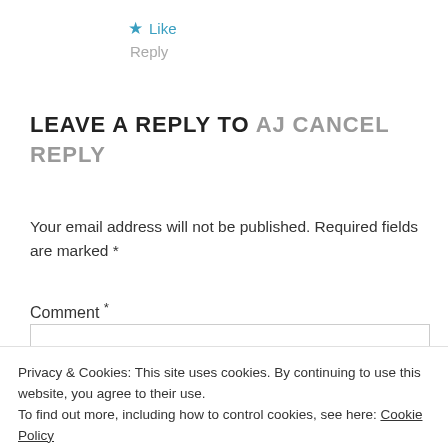★ Like
Reply
LEAVE A REPLY TO AJ CANCEL REPLY
Your email address will not be published. Required fields are marked *
Comment *
Privacy & Cookies: This site uses cookies. By continuing to use this website, you agree to their use.
To find out more, including how to control cookies, see here: Cookie Policy
Close and accept